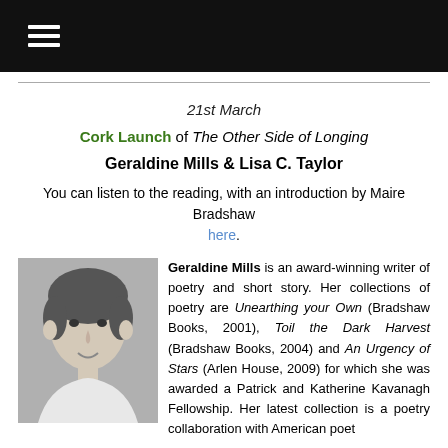≡ (hamburger menu)
21st March
Cork Launch of The Other Side of Longing
Geraldine Mills & Lisa C. Taylor
You can listen to the reading, with an introduction by Maire Bradshaw here.
[Figure (photo): Black and white photo of Geraldine Mills]
Geraldine Mills is an award-winning writer of poetry and short story. Her collections of poetry are Unearthing your Own (Bradshaw Books, 2001), Toil the Dark Harvest (Bradshaw Books, 2004) and An Urgency of Stars (Arlen House, 2009) for which she was awarded a Patrick and Katherine Kavanagh Fellowship. Her latest collection is a poetry collaboration with American poet Lisa C. Taylor titled The Other Side of Longing (Arlen House, 2011) which explores themes of culture, folklore and language through a series of poems of call and response, weaving in and out of their own internal and external landscapes. the collection from which Geraldine and Lisa will be